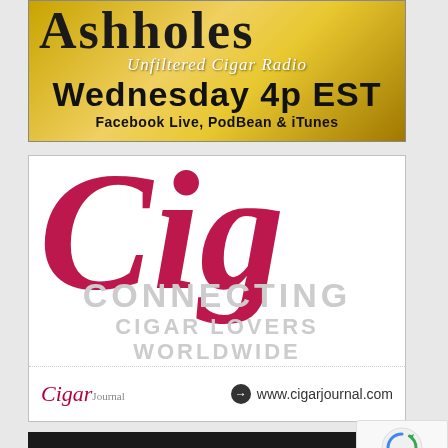[Figure (advertisement): Assholes Unfiltered Cigar Radio ad with gold gradient background. Text: 'Assholes Unfiltered Cigar Radio - Wednesday 4p EST - Facebook Live, PodBean & iTunes']
[Figure (advertisement): Cigar Journal ad on white background with large crimson script monogram 'Cig', gray text 'CONNECTING CIGAR LOVERS WORLDWIDE', Cigar Journal logo and www.cigarjournal.com URL]
[Figure (advertisement): Drew Diplomat ad with dark background and white bold text 'DREW DIPLOMAT' with circular logo icon]
[Figure (other): reCAPTCHA widget showing recycling arrow icon with 'Privacy - Terms' text]